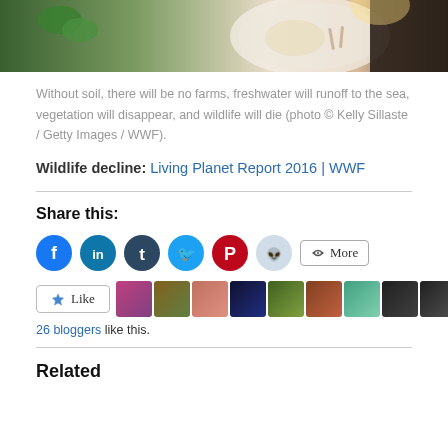[Figure (photo): Close-up photo of a person holding a plate with food including salad and rice, partially cropped]
Without soil, there will be no farms, freshwater will runoff to the sea, vegetation will disappear, and wildlife will die (photo © Kelly Sillaste / Getty Images / WWF).
Wildlife decline: Living Planet Report 2016 | WWF
Share this:
[Figure (infographic): Social sharing buttons: Facebook (blue circle), LinkedIn (teal circle), Tumblr (dark circle), Twitter (cyan circle), Pinterest (red circle), Reddit (light circle), and a More button]
[Figure (infographic): Like button and a row of blogger avatar thumbnails. 26 bloggers like this.]
26 bloggers like this.
Related